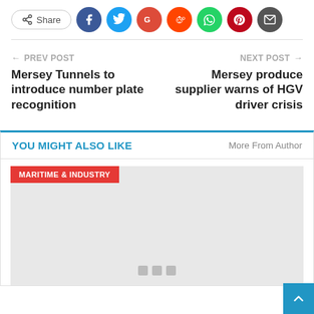[Figure (other): Social share bar with Share button and social media icon circles: Facebook, Twitter, Google+, Reddit, WhatsApp, Pinterest, Email]
← PREV POST
Mersey Tunnels to introduce number plate recognition
NEXT POST →
Mersey produce supplier warns of HGV driver crisis
YOU MIGHT ALSO LIKE
More From Author
[Figure (other): Card image placeholder (light grey rectangle) with MARITIME & INDUSTRY red category badge and three grey dots at bottom center indicating a carousel]
[Figure (other): Blue scroll-to-top button with white upward arrow in bottom-right corner]